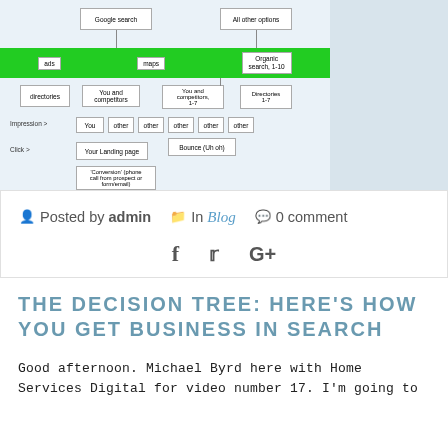[Figure (flowchart): A decision tree flowchart showing how users get business through search. Shows Google search and All other options at top, leading to ads, maps, Organic search 1-10 (highlighted in green bar), then directories, You and competitors, You and competitors 1-7, Directories 1-7, then Impression row with You and other boxes, then Click to Your Landing page, Bounce (Uh oh), and Conversion (phone call from prospect or form/email). A webcam video of a man is overlaid in the top right corner with 'HO VICES DIGITAL' text.]
Posted by admin   In Blog   0 comment
THE DECISION TREE: HERE'S HOW YOU GET BUSINESS IN SEARCH
Good afternoon. Michael Byrd here with Home Services Digital for video number 17. I'm going to